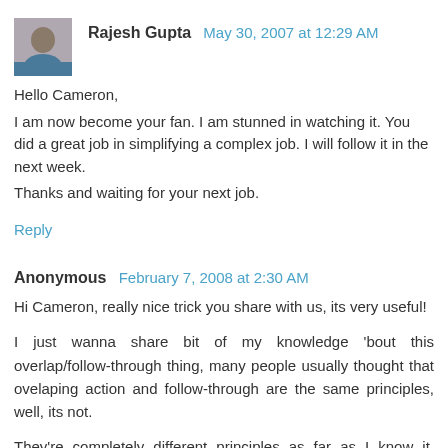[Figure (photo): Small avatar photo of Rajesh Gupta, a person in a blue/gray shirt]
Rajesh Gupta  May 30, 2007 at 12:29 AM
Hello Cameron,
I am now become your fan. I am stunned in watching it. You did a great job in simplifying a complex job. I will follow it in the next week.
Thanks and waiting for your next job.
Reply
Anonymous  February 7, 2008 at 2:30 AM
Hi Cameron, really nice trick you share with us, its very useful!

I just wanna share bit of my knowledge 'bout this overlap/follow-through thing, many people usually thought that ovelaping action and follow-through are the same principles, well, its not.

They're completely different principles as far as I know it, overlaping action is various parts of the body or an object